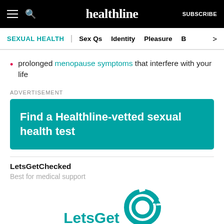healthline | SUBSCRIBE
SEXUAL HEALTH | Sex Qs | Identity | Pleasure | B >
prolonged menopause symptoms that interfere with your life
ADVERTISEMENT
[Figure (infographic): Teal advertisement banner reading: Find a Healthline-vetted sexual health test]
LetsGetChecked
Best for medical support
[Figure (logo): LetsGetChecked teal logo with circular arrow icon, partially visible at bottom]